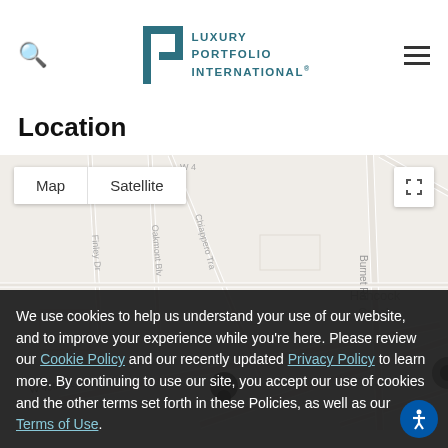Luxury Portfolio International - header with search icon, logo, and hamburger menu
Location
[Figure (map): Google Maps embedded map showing area around Hancock Creek, Austin TX. Shows streets including W 45th St, W 47th St, W 49th St, Hancock Dr, Burnet Rd, Finley Dr, Oakmont Blvd, Chiappero Trail. Map/Satellite toggle buttons visible. Location pin marker visible.]
We use cookies to help us understand your use of our website, and to improve your experience while you're here. Please review our Cookie Policy and our recently updated Privacy Policy to learn more. By continuing to use our site, you accept our use of cookies and the other terms set forth in these Policies, as well as our Terms of Use.